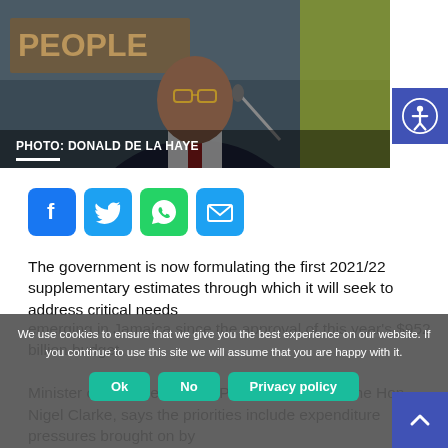[Figure (photo): Photo of a man in a suit speaking at a podium, with 'PEOPLE' sign and Jamaican flag in background. Caption reads: PHOTO: DONALD DE LA HAYE]
PHOTO: DONALD DE LA HAYE
[Figure (infographic): Social media sharing buttons: Facebook, Twitter, WhatsApp, Email]
The government is now formulating the first 2021/22 supplementary estimates through which it will seek to address critical needs emerging in Jamaica since the approval of this year's $952 billion budget.
Minister of Finance and the Public Service, Dr. the Hon. Nigel Clarke, says the priorities include expenditure pressures brought on by
We use cookies to ensure that we give you the best experience on our website. If you continue to use this site we will assume that you are happy with it.